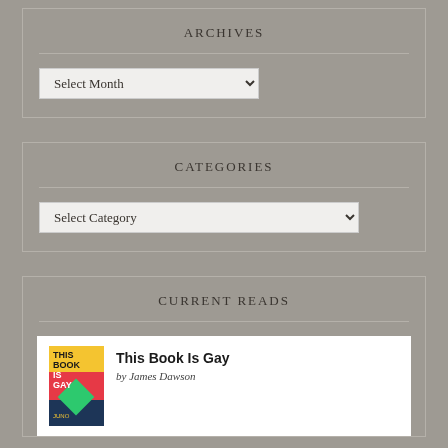ARCHIVES
Select Month
CATEGORIES
Select Category
CURRENT READS
This Book Is Gay
by James Dawson